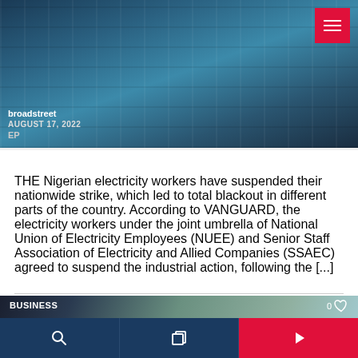[Figure (photo): Electric power substation with transformers and power lines, covered in snow/frost, in a cold blue-toned setting. Site name 'broadstreet' and date 'AUGUST 17, 2022' overlaid at bottom left. Red hamburger menu button at top right.]
THE Nigerian electricity workers have suspended their nationwide strike, which led to total blackout in different parts of the country. According to VANGUARD, the electricity workers under the joint umbrella of National Union of Electricity Employees (NUEE) and Senior Staff Association of Electricity and Allied Companies (SSAEC) agreed to suspend the industrial action, following the [...]
[Figure (photo): Partial view of another article card showing power transmission tower silhouette against cloudy sky, with 'BUSINESS' label and a heart icon with count '0'.]